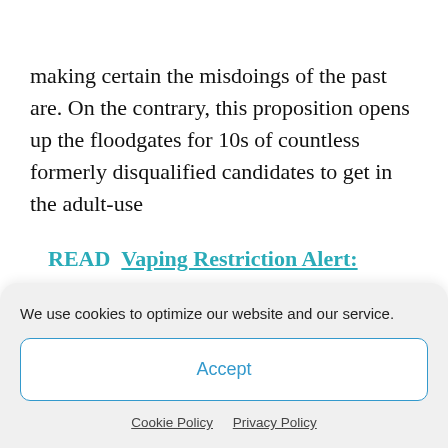making certain the misdoings of the past are. On the contrary, this proposition opens up the floodgates for 10s of countless formerly disqualified candidates to get in the adult-use
READ  Vaping Restriction Alert: Stock-Up On Delta-8 THC Vape Carts
sector.     This final change develops equity in name just by
We use cookies to optimize our website and our service.
Accept
Cookie Policy   Privacy Policy